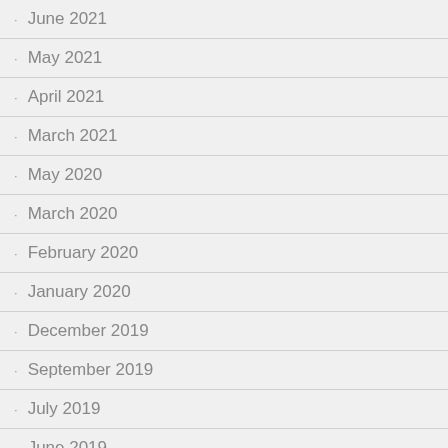June 2021
May 2021
April 2021
March 2021
May 2020
March 2020
February 2020
January 2020
December 2019
September 2019
July 2019
June 2019